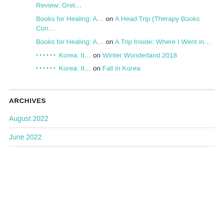Review: Gret… on [link]
Books for Healing: A… on A Head Trip (Therapy Books Con…
Books for Healing: A… on A Trip Inside: Where I Went in…
🅰🅰🅰🅰🅰🅰 Korea: It… on Winter Wonderland 2018
🅰🅰🅰🅰🅰🅰 Korea: It… on Fall in Korea
ARCHIVES
August 2022
June 2022